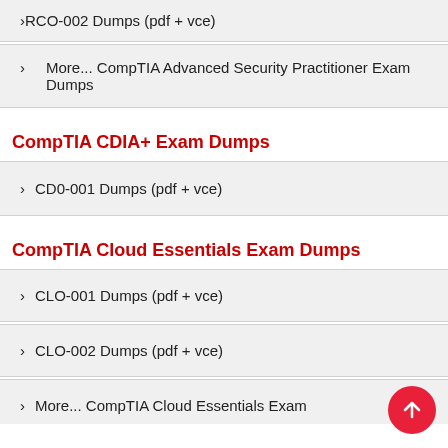RCO-002 Dumps (pdf + vce)
More... CompTIA Advanced Security Practitioner Exam Dumps
CompTIA CDIA+ Exam Dumps
CD0-001 Dumps (pdf + vce)
CompTIA Cloud Essentials Exam Dumps
CLO-001 Dumps (pdf + vce)
CLO-002 Dumps (pdf + vce)
More... CompTIA Cloud Essentials Exam